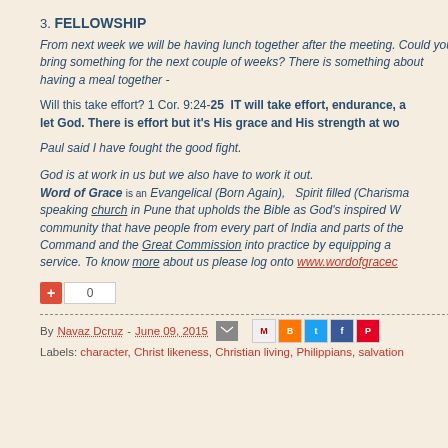3. FELLOWSHIP
From next week we will be having lunch together after the meeting. Could you bring something for the next couple of weeks? There is something about having a meal together -
Will this take effort? 1 Cor. 9:24-25  IT will take effort, endurance, and discipline but it is not let God. There is effort but it's His grace and His strength at work.
Paul said I have fought the good fight.
God is at work in us but we also have to work it out.
Word of Grace is an Evangelical (Born Again),  Spirit filled (Charismatic), English speaking church in Pune that upholds the Bible as God's inspired Word. We are a community that have people from every part of India and parts of the world. We seek to fulfill the Great Commandment and the Great Commission into practice by equipping and enabling people for service. To know more about us please log onto www.wordofgracechurch.org
+1  0
By Navaz Dcruz - June 09, 2015
Labels: character, Christ likeness, Christian living, Philippians, salvation